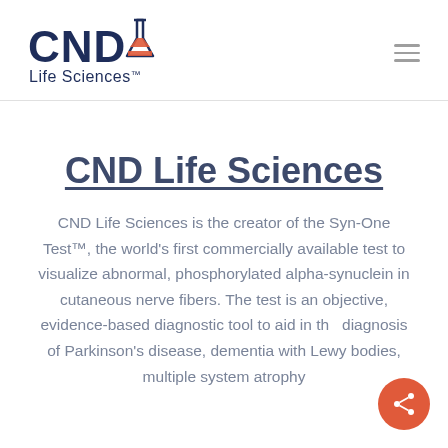[Figure (logo): CND Life Sciences logo with flask icon and text]
CND Life Sciences
CND Life Sciences is the creator of the Syn-One Test™, the world's first commercially available test to visualize abnormal, phosphorylated alpha-synuclein in cutaneous nerve fibers. The test is an objective, evidence-based diagnostic tool to aid in the diagnosis of Parkinson's disease, dementia with Lewy bodies, multiple system atrophy